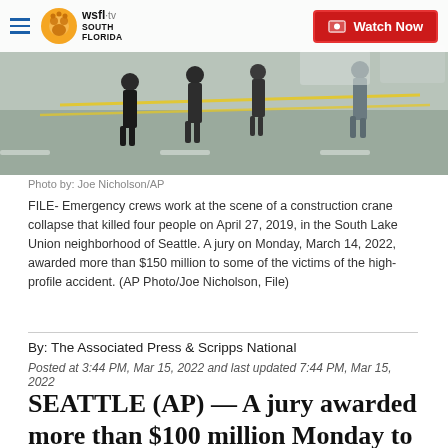WSFL-TV South Florida | Watch Now
[Figure (photo): Emergency crews work at the scene of a construction crane collapse, yellow police tape visible, people walking on street]
Photo by: Joe Nicholson/AP

FILE- Emergency crews work at the scene of a construction crane collapse that killed four people on April 27, 2019, in the South Lake Union neighborhood of Seattle. A jury on Monday, March 14, 2022, awarded more than $150 million to some of the victims of the high-profile accident. (AP Photo/Joe Nicholson, File)
By: The Associated Press & Scripps National
Posted at 3:44 PM, Mar 15, 2022 and last updated 7:44 PM, Mar 15, 2022
SEATTLE (AP) — A jury awarded more than $100 million Monday to some of the victims of a tower crane collapse that killed four people in Seattle in 2019.